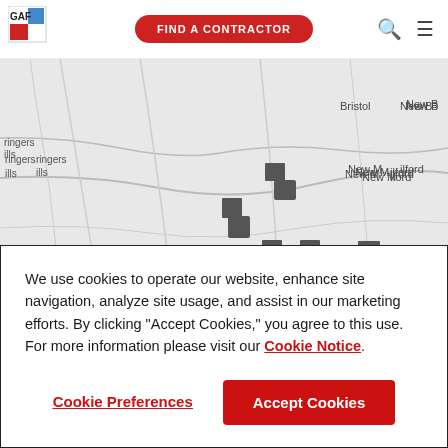[Figure (logo): GAF logo in top left corner]
[Figure (map): Map showing locations in Connecticut/New York area including Bristol, New Haven, Hamden, Waterbury, New Milford, Brewster, Danbury, Ridgefield, Yorktown with multiple dark map markers]
We use cookies to operate our website, enhance site navigation, analyze site usage, and assist in our marketing efforts. By clicking "Accept Cookies," you agree to this use. For more information please visit our Cookie Notice.
Cookie Preferences
Accept Cookies